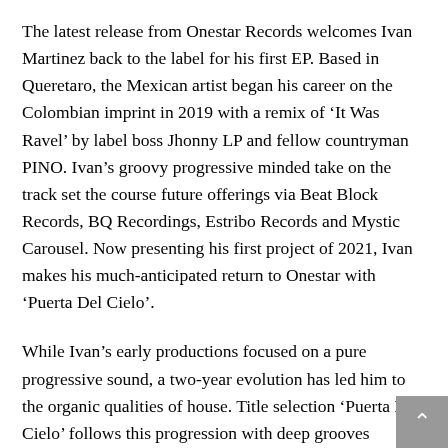The latest release from Onestar Records welcomes Ivan Martinez back to the label for his first EP. Based in Queretaro, the Mexican artist began his career on the Colombian imprint in 2019 with a remix of ‘It Was Ravel’ by label boss Jhonny LP and fellow countryman PINO. Ivan’s groovy progressive minded take on the track set the course future offerings via Beat Block Records, BQ Recordings, Estribo Records and Mystic Carousel. Now presenting his first project of 2021, Ivan makes his much-anticipated return to Onestar with ‘Puerta Del Cielo’.
While Ivan’s early productions focused on a pure progressive sound, a two-year evolution has led him to the organic qualities of house. Title selection ‘Puerta Del Cielo’ follows this progression with deep grooves marrying exotic drums and reflective refrains. Placid pads and stirring tones rise across the first act, bringing with them heartfelt moments which carry in the main break. Spanning nearly two minutes in length, the